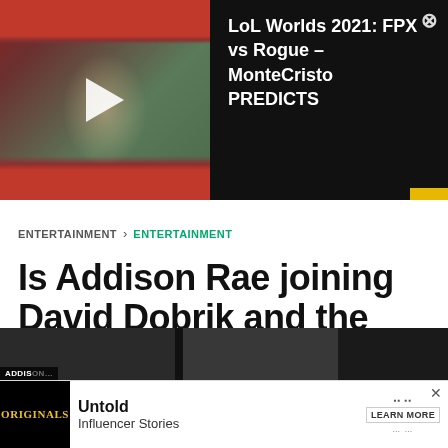[Figure (screenshot): Video thumbnail of a person wearing red headphones with a play button overlay, beside video title text on dark background]
LoL Worlds 2021: FPX vs Rogue - MonteCristo PREDICTS
ENTERTAINMENT > ENTERTAINMENT
Is Addison Rae joining David Dobrik and the Vlog Squad?
Andrew Amos . Last updated: Jun 19, 2020
[Figure (screenshot): Bottom image strip showing partial article thumbnail with ADDISON label]
[Figure (screenshot): Advertisement banner showing Originals logo and Untold Influencer Stories with Learn More button]